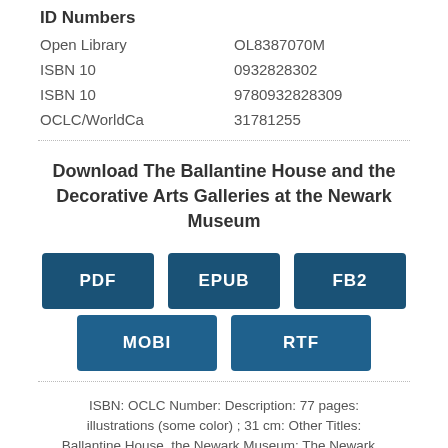ID Numbers
| Open Library | OL8387070M |
| ISBN 10 | 0932828302 |
| ISBN 10 | 9780932828309 |
| OCLC/WorldCa | 31781255 |
Download The Ballantine House and the Decorative Arts Galleries at the Newark Museum
PDF
EPUB
FB2
MOBI
RTF
ISBN: OCLC Number: Description: 77 pages: illustrations (some color) ; 31 cm: Other Titles: Ballantine House, the Newark Museum; The Newark...